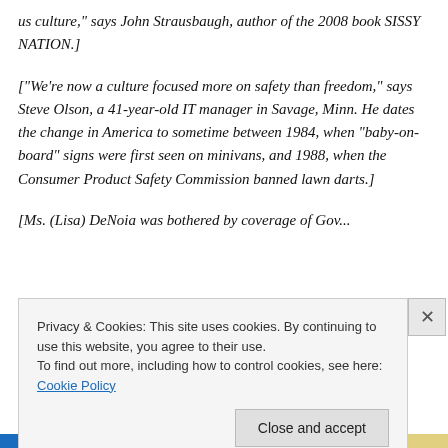us culture," says John Strausbaugh, author of the 2008 book SISSY NATION.]
["We're now a culture focused more on safety than freedom," says Steve Olson, a 41-year-old IT manager in Savage, Minn. He dates the change in America to sometime between 1984, when “baby-on-board” signs were first seen on minivans, and 1988, when the Consumer Product Safety Commission banned lawn darts.]
[Ms. (Lisa) DeNoia was bothered by coverage of Gov...
Privacy & Cookies: This site uses cookies. By continuing to use this website, you agree to their use.
To find out more, including how to control cookies, see here: Cookie Policy